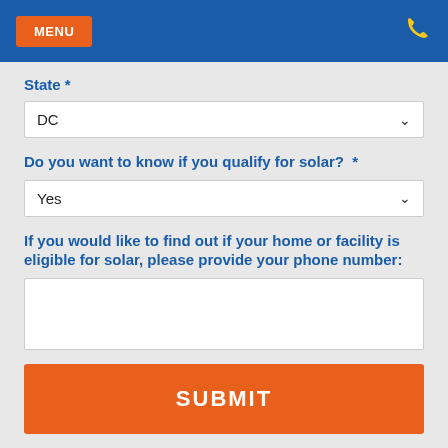MENU | [phone icon]
State *
DC
Do you want to know if you qualify for solar? *
Yes
If you would like to find out if your home or facility is eligible for solar, please provide your phone number:
SUBMIT